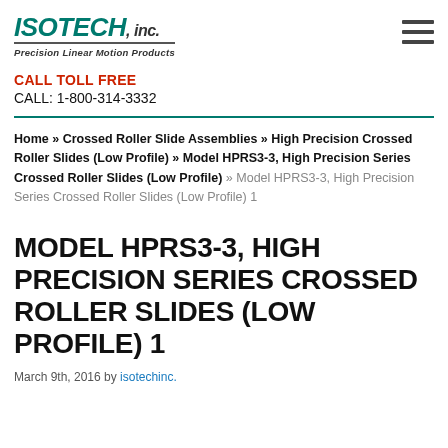ISOTECH, inc. | Precision Linear Motion Products
CALL TOLL FREE
CALL: 1-800-314-3332
Home » Crossed Roller Slide Assemblies » High Precision Crossed Roller Slides (Low Profile) » Model HPRS3-3, High Precision Series Crossed Roller Slides (Low Profile) » Model HPRS3-3, High Precision Series Crossed Roller Slides (Low Profile) 1
MODEL HPRS3-3, HIGH PRECISION SERIES CROSSED ROLLER SLIDES (LOW PROFILE) 1
March 9th, 2016 by isotechinc.